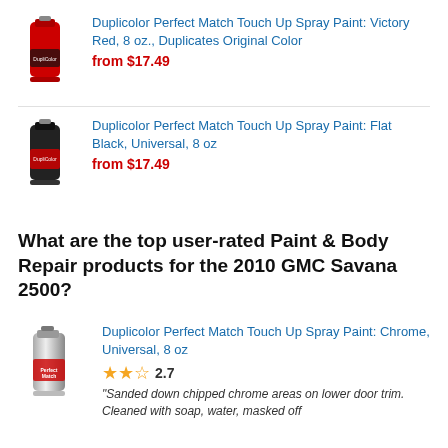[Figure (photo): Red spray paint can - Duplicolor Perfect Match]
Duplicolor Perfect Match Touch Up Spray Paint: Victory Red, 8 oz., Duplicates Original Color
from $17.49
[Figure (photo): Black spray paint can - Duplicolor Perfect Match]
Duplicolor Perfect Match Touch Up Spray Paint: Flat Black, Universal, 8 oz
from $17.49
What are the top user-rated Paint & Body Repair products for the 2010 GMC Savana 2500?
[Figure (photo): Chrome spray paint can - Duplicolor Perfect Match]
Duplicolor Perfect Match Touch Up Spray Paint: Chrome, Universal, 8 oz
2.7
"Sanded down chipped chrome areas on lower door trim. Cleaned with soap, water, masked off